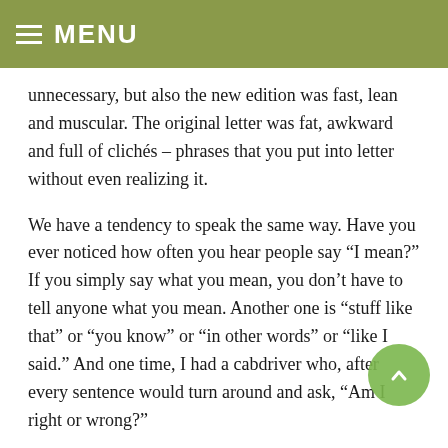MENU
unnecessary, but also the new edition was fast, lean and muscular. The original letter was fat, awkward and full of clichés – phrases that you put into letter without even realizing it.
We have a tendency to speak the same way. Have you ever noticed how often you hear people say “I mean?” If you simply say what you mean, you don’t have to tell anyone what you mean. Another one is “stuff like that” or “you know” or “in other words” or “like I said.” And one time, I had a cabdriver who, after every sentence would turn around and ask, “Am I right or wrong?”
There's nothing wrong about this particularly, but it does add a lot of unnecessary weight and excess baggage to something that can be simple, direct, clean and powerful.
It's been said that Ernest Hemingway would sometimes spend most of a complete morning writing a single paragraph. And if you read Hemingway, you’ll notice his effectiveness in saying...